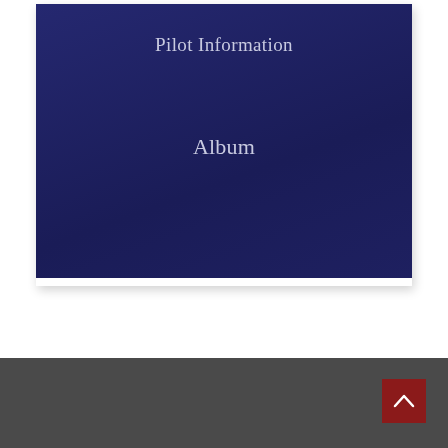[Figure (other): A dark navy blue rectangular card/album cover with 'Pilot Information' text near the top and 'Album' text in the center, displayed on a white background with a subtle drop shadow.]
Pilot Information
Album
Footer bar with back-to-top button